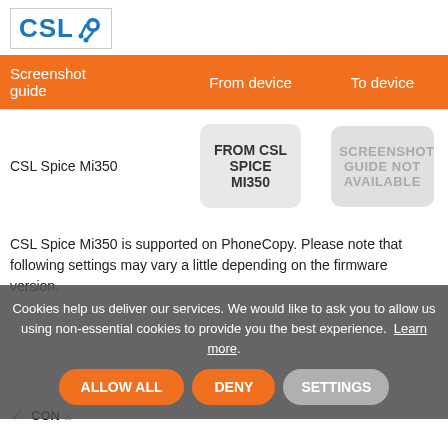[Figure (logo): CSL logo with blue text and molecule icon]
| Screenshot guide | From device | To device |
| --- | --- | --- |
| CSL Spice Mi350 | FROM CSL SPICE MI350 | SCREENSHOT GUIDE NOT AVAILABLE |
CSL Spice Mi350 is supported on PhoneCopy. Please note that following settings may vary a little depending on the firmware version.
Cookies help us deliver our services. We would like to ask you to allow us using non-essential cookies to provide you the best experience.  Learn more.
CON  a  ALLOW ALL  DENY  SETTINGS